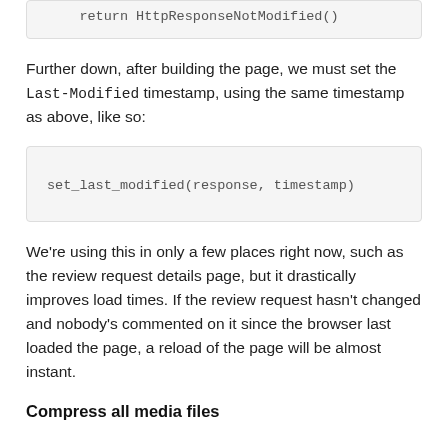[Figure (screenshot): Code box showing: return HttpResponseNotModified()]
Further down, after building the page, we must set the Last-Modified timestamp, using the same timestamp as above, like so:
[Figure (screenshot): Code box showing: set_last_modified(response, timestamp)]
We're using this in only a few places right now, such as the review request details page, but it drastically improves load times. If the review request hasn't changed and nobody's commented on it since the browser last loaded the page, a reload of the page will be almost instant.
Compress all media files